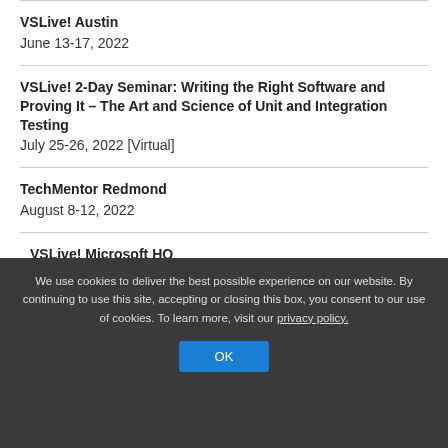VSLive! Austin
June 13-17, 2022
VSLive! 2-Day Seminar: Writing the Right Software and Proving It – The Art and Science of Unit and Integration Testing
July 25-26, 2022 [Virtual]
TechMentor Redmond
August 8-12, 2022
VSLive! Microsoft HQ
August 8-12, 2022
VSLive! 2-Day Seminar: LINQ in .NET 6 from the Ground…
We use cookies to deliver the best possible experience on our website. By continuing to use this site, accepting or closing this box, you consent to our use of cookies. To learn more, visit our privacy policy.